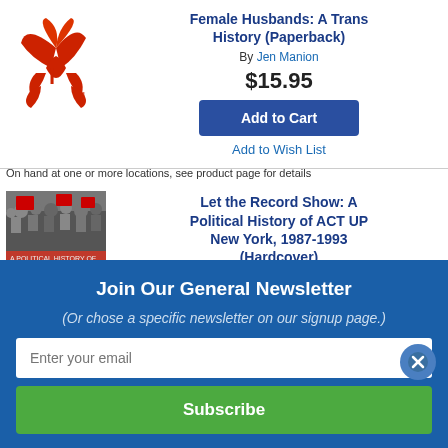[Figure (illustration): Red illustrated logo/mascot with stylized letter i and wing-like shapes, from Indiebound or similar bookstore]
Female Husbands: A Trans History (Paperback)
By Jen Manion
$15.95
Add to Cart
Add to Wish List
On hand at one or more locations, see product page for details
[Figure (photo): Book cover of 'Let the Record Show: A Political History of ACT UP New York, 1987-1993' with black and white protest photo and red text]
Let the Record Show: A Political History of ACT UP New York, 1987-1993 (Hardcover)
By Sarah Schulman
Join Our General Newsletter
(Or chose a specific newsletter on our signup page.)
Enter your email
Subscribe